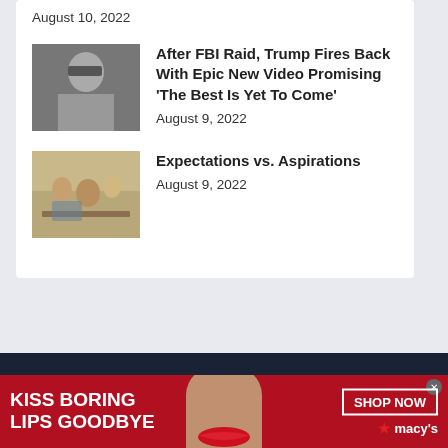August 10, 2022
[Figure (photo): Black and white photo of a man in sunglasses]
After FBI Raid, Trump Fires Back With Epic New Video Promising ‘The Best Is Yet To Come’
August 9, 2022
[Figure (photo): Color photo of people working around a table with laptops]
Expectations vs. Aspirations
August 9, 2022
[Figure (advertisement): Macy's ad: KISS BORING LIPS GOODBYE with a woman's face and red lips, SHOP NOW button and Macy's star logo]